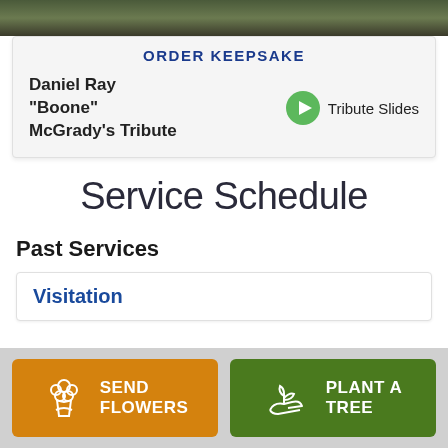[Figure (photo): Dark nature/forest photo banner at top of page]
ORDER KEEPSAKE
Daniel Ray "Boone" McGrady's Tribute
Tribute Slides
Service Schedule
Past Services
Visitation
SEND FLOWERS
PLANT A TREE